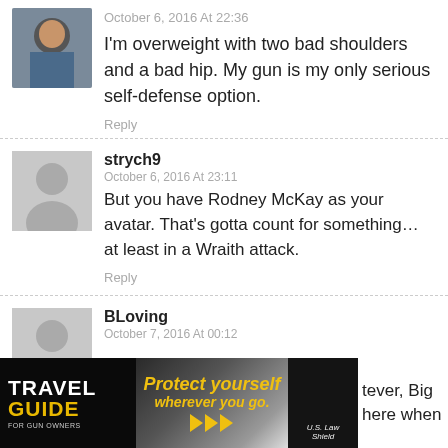October 6, 2016 At 22:36
I'm overweight with two bad shoulders and a bad hip. My gun is my only serious self-defense option.
Reply
strych9
October 6, 2016 At 23:11
But you have Rodney McKay as your avatar. That's gotta count for something… at least in a Wraith attack.
Reply
BLoving
October 7, 2016 At 00:12
...tever, Big ...here when
[Figure (screenshot): Travel Guide for Gun Owners advertisement banner with text 'Protect yourself wherever you go.' and U.S. LawShield logo]